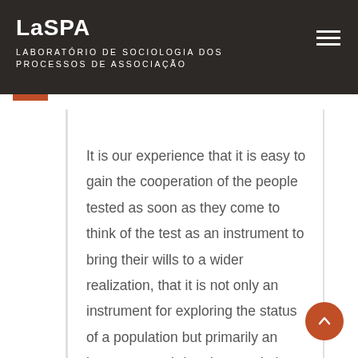LaSPA
LABORATÓRIO DE SOCIOLOGIA DOS PROCESSOS DE ASSOCIAÇÃO
It is our experience that it is easy to gain the cooperation of the people tested as soon as they come to think of the test as an instrument to bring their wills to a wider realization, that it is not only an instrument for exploring the status of a population but primarily an instrument to bring the population to a collective self-